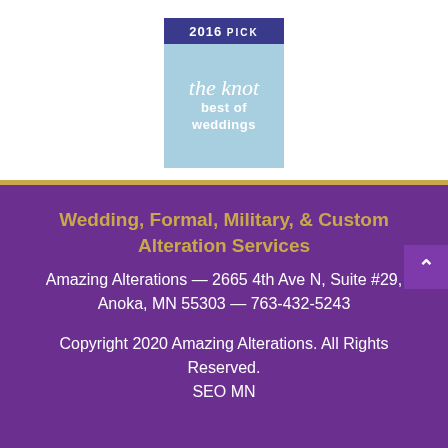[Figure (logo): The Knot Best of Weddings 2016 Pick badge. Dark blue top banner with '2016 PICK' text, light blue bottom with 'the knot best of weddings' text in white.]
Wedding, Formal, Military, & Custom Alteration Services
Amazing Alterations — 2665 4th Ave N, Suite #29, Anoka, MN 55303 — 763-432-5243
Copyright 2020 Amazing Alterations. All Rights Reserved. SEO MN